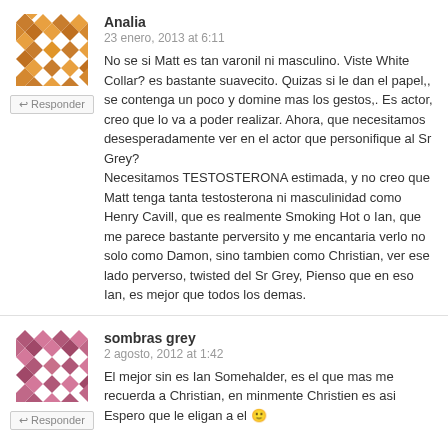[Figure (illustration): Geometric avatar icon in orange/gold colors, mosaic pattern]
↩ Responder
Analia
23 enero, 2013 at 6:11
No se si Matt es tan varonil ni masculino. Viste White Collar? es bastante suavecito. Quizas si le dan el papel,, se contenga un poco y domine mas los gestos,. Es actor, creo que lo va a poder realizar. Ahora, que necesitamos desesperadamente ver en el actor que personifique al Sr Grey? Necesitamos TESTOSTERONA estimada, y no creo que Matt tenga tanta testosterona ni masculinidad como Henry Cavill, que es realmente Smoking Hot o Ian, que me parece bastante perversito y me encantaria verlo no solo como Damon, sino tambien como Christian, ver ese lado perverso, twisted del Sr Grey, Pienso que en eso Ian, es mejor que todos los demas.
[Figure (illustration): Geometric avatar icon in pink/mauve colors, mosaic pattern]
↩ Responder
sombras grey
2 agosto, 2012 at 1:42
El mejor sin es Ian Somehalder, es el que mas me recuerda a Christian, en minmente Christien es asi
Espero que le eligan a el 🙂